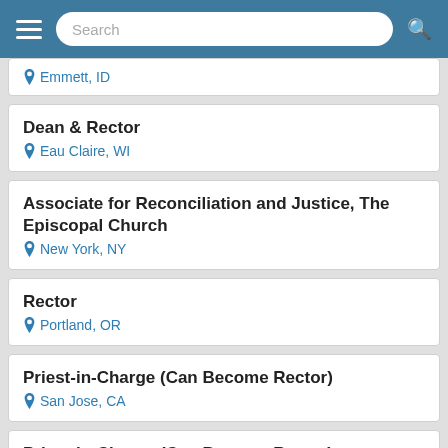Search
Emmett, ID
Dean & Rector
Eau Claire, WI
Associate for Reconciliation and Justice, The Episcopal Church
New York, NY
Rector
Portland, OR
Priest-in-Charge (Can Become Rector)
San Jose, CA
Priest-in-Charge (Can Become Rector)
Ames, IA